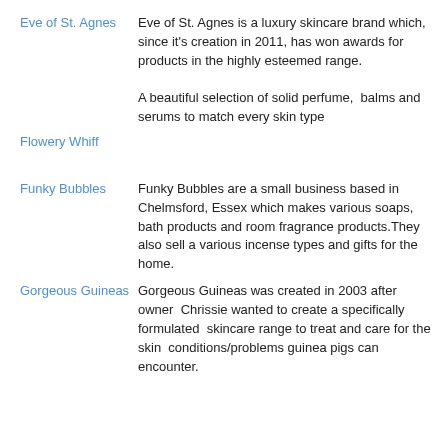Eve of St. Agnes
Eve of St. Agnes is a luxury skincare brand which, since it's creation in 2011, has won awards for products in the highly esteemed range.

A beautiful selection of solid perfume,  balms and serums to match every skin type
Flowery Whiff
Funky Bubbles
Funky Bubbles are a small business based in Chelmsford, Essex which makes various soaps, bath products and room fragrance products.They also sell a various incense types and gifts for the home.
Gorgeous Guineas
Gorgeous Guineas was created in 2003 after owner  Chrissie wanted to create a specifically formulated  skincare range to treat and care for the skin  conditions/problems guinea pigs can encounter.